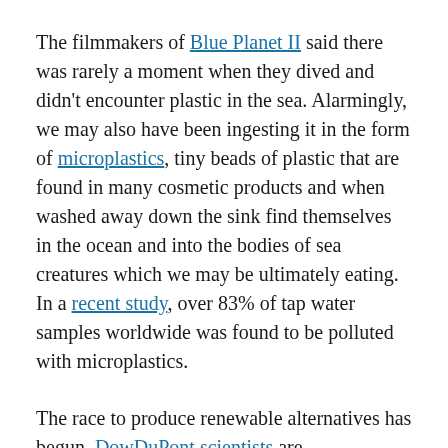The filmmakers of Blue Planet II said there was rarely a moment when they dived and didn't encounter plastic in the sea. Alarmingly, we may also have been ingesting it in the form of microplastics, tiny beads of plastic that are found in many cosmetic products and when washed away down the sink find themselves in the ocean and into the bodies of sea creatures which we may be ultimately eating. In a recent study, over 83% of tap water samples worldwide was found to be polluted with microplastics.
The race to produce renewable alternatives has begun. DowDuPont scientists are revolutionising plastic bottles by creating a molecular chain that derives from cane sugar